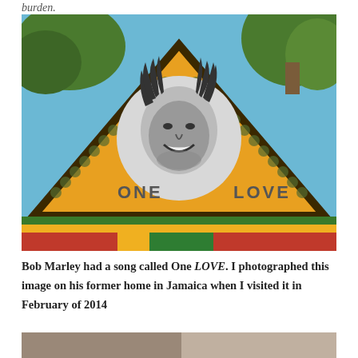burden.
[Figure (photo): Photo of the gable end of Bob Marley's former home in Jamaica, painted bright yellow-orange with a circular black-and-white portrait/mural of Bob Marley and the words ONE LOVE painted on the wall. Trees visible in background, colorful striped roof trim at bottom.]
Bob Marley had a song called One LOVE. I photographed this image on his former home in Jamaica when I visited it in February of 2014
[Figure (photo): Partial bottom photo, mostly gray/brown tones, content cropped.]